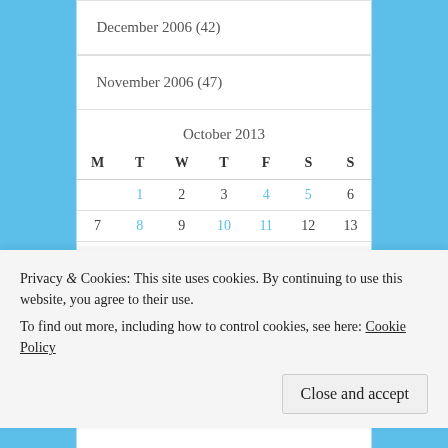December 2006 (42)
November 2006 (47)
| M | T | W | T | F | S | S |
| --- | --- | --- | --- | --- | --- | --- |
|  | 1 | 2 | 3 | 4 | 5 | 6 |
| 7 | 8 | 9 | 10 | 11 | 12 | 13 |
| 14 | 15 | 16 | 17 | 18 | 19 | 20 |
| 21 | 22 | 23 | 24 | 25 | 26 | 27 |
| 28 | 29 | 30 | 31 |  |  |  |
Privacy & Cookies: This site uses cookies. By continuing to use this website, you agree to their use.
To find out more, including how to control cookies, see here: Cookie Policy
Close and accept